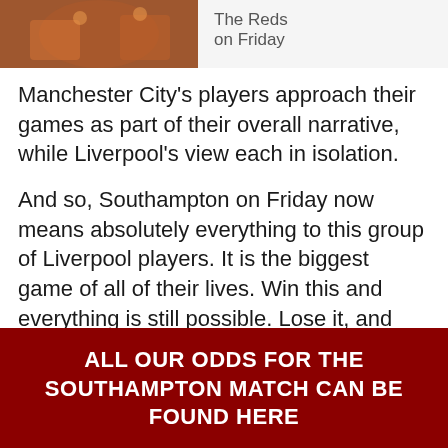[Figure (photo): Top portion of a sports article page showing a football/soccer player photo on the left and partial text 'The Reds on Friday' on the right]
Manchester City's players approach their games as part of their overall narrative, while Liverpool's view each in isolation.
And so, Southampton on Friday now means absolutely everything to this group of Liverpool players. It is the biggest game of all of their lives. Win this and everything is still possible. Lose it, and nothing is over, but it all becomes a damn sight more difficult.
And it's the biggest game of all of our lives as supporters too. Because it could help bring about what we yearn for most.
ALL OUR ODDS FOR THE SOUTHAMPTON MATCH CAN BE FOUND HERE